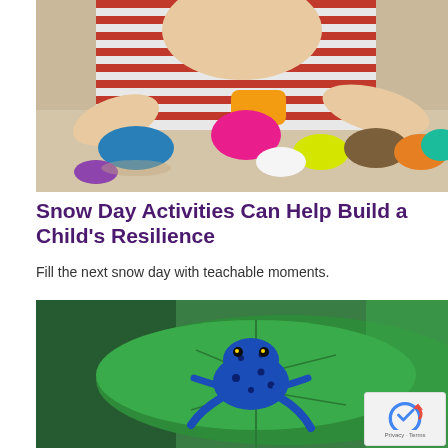[Figure (photo): Young child playing with colorful clay/playdough pieces on a table, reaching for them with both hands]
Snow Day Activities Can Help Build a Child's Resilience
Fill the next snow day with teachable moments.
[Figure (photo): Blue poison dart frog sitting on a large green tropical leaf, with blurred green background]